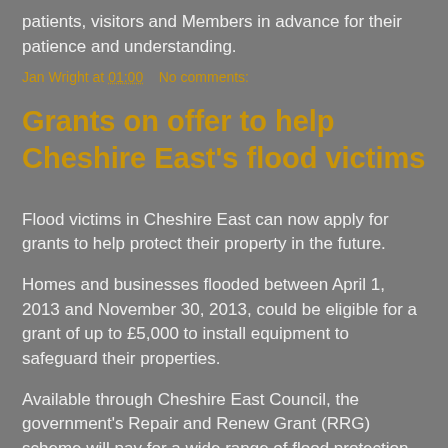patients, visitors and Members in advance for their patience and understanding.
Jan Wright at 01:00    No comments:
Grants on offer to help Cheshire East's flood victims
Flood victims in Cheshire East can now apply for grants to help protect their property in the future.
Homes and businesses flooded between April 1, 2013 and November 30, 2013, could be eligible for a grant of up to £5,000 to install equipment to safeguard their properties.
Available through Cheshire East Council, the government's Repair and Renew Grant (RRG) scheme will pay for a wide range of flood protection measures for property owners who meet the eligibility criteria.